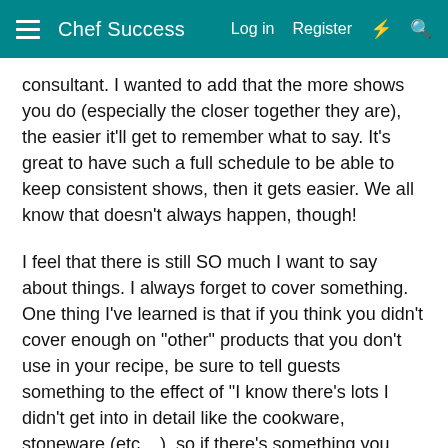Chef Success   Log in   Register
consultant. I wanted to add that the more shows you do (especially the closer together they are), the easier it'll get to remember what to say. It's great to have such a full schedule to be able to keep consistent shows, then it gets easier. We all know that doesn't always happen, though!
I feel that there is still SO much I want to say about things. I always forget to cover something. One thing I've learned is that if you think you didn't cover enough on "other" products that you don't use in your recipe, be sure to tell guests something to the effect of "I know there's lots I didn't get into in detail like the cookware, stoneware (etc....), so if there's something you want to learn more about, book your own show and we'll be sure to use those products in the recipe so you can add